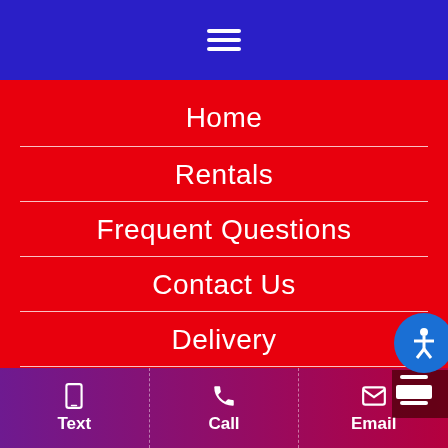[Figure (other): Blue navigation header bar with white hamburger menu icon (three horizontal lines)]
Home
Rentals
Frequent Questions
Contact Us
Delivery
Specials
[Figure (other): Blue circular accessibility icon (person with arms outstretched)]
Text  Call  Email